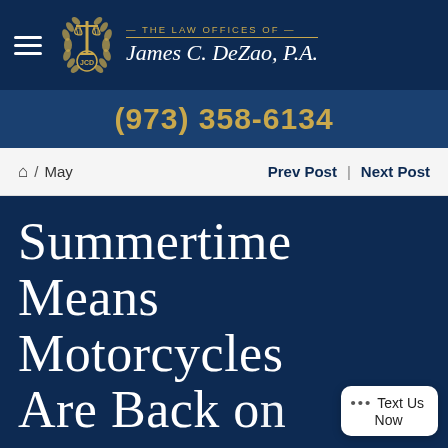THE LAW OFFICES OF James C. DeZao, P.A.
(973) 358-6134
Home / May   Prev Post | Next Post
Summertime Means Motorcycles Are Back on...
... Text Us Now